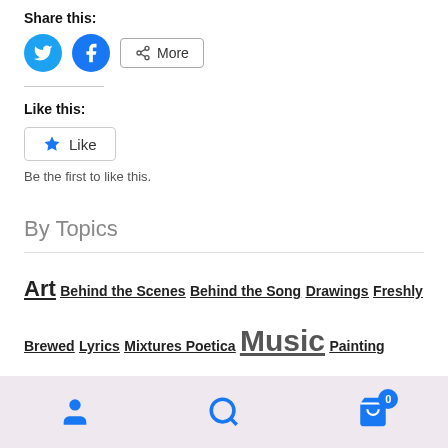Share this:
[Figure (screenshot): Share buttons: Twitter (blue circle), Facebook (blue circle), and a More button with share icon]
Like this:
[Figure (screenshot): Like button with star icon]
Be the first to like this.
By Topics
Art  Behind the Scenes  Behind the Song  Drawings  Freshly Brewed  Lyrics  Mixtures Poetica  Music  Painting